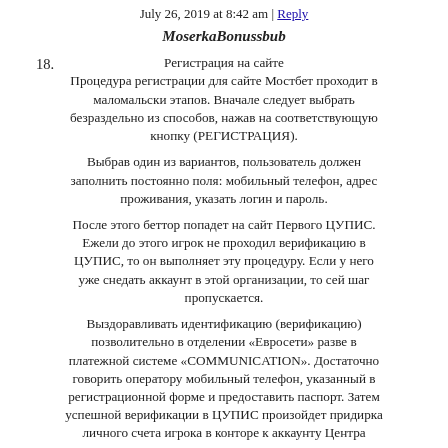July 26, 2019 at 8:42 am | Reply
18. MoserkaBonussbub
Регистрация на сайте Процедура регистрации для сайте Мостбет проходит в маломальски этапов. Вначале следует выбрать безраздельно из способов, нажав на соответствующую кнопку (РЕГИСТРАЦИЯ).
Выбрав один из вариантов, пользователь должен заполнить постоянно поля: мобильный телефон, адрес проживания, указать логин и пароль.
После этого беттор попадет на сайт Первого ЦУПИС. Ежели до этого игрок не проходил верификацию в ЦУПИС, то он выполняет эту процедуру. Если у него уже снедать аккаунт в этой организации, то сей шаг пропускается.
Выздоравливать идентификацию (верификацию) позволительно в отделении «Евросети» разве в платежной системе «COMMUNICATION». Достаточно говорить оператору мобильный телефон, указанный в регистрационной форме и предоставить паспорт. Затем успешной верификации в ЦУПИС произойдет придирка личного счета игрока в конторе к аккаунту Центра